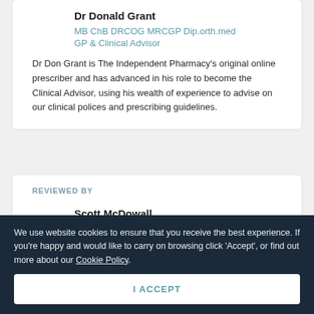Dr Donald Grant
MB ChB DRCOG MRCGP Dip.orth.med
GP & Clinical Advisor
Dr Don Grant is The Independent Pharmacy's original online prescriber and has advanced in his role to become the Clinical Advisor, using his wealth of experience to advise on our clinical polices and prescribing guidelines.
REVIEWED BY
Scott McDowall
We use website cookies to ensure that you receive the best experience. If you're happy and would like to carry on browsing click 'Accept', or find out more about our Cookie Policy.
I ACCEPT